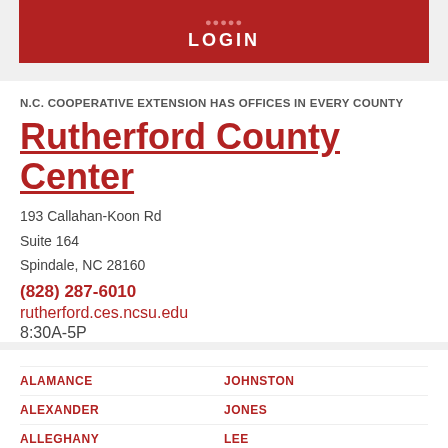LOGIN
N.C. COOPERATIVE EXTENSION HAS OFFICES IN EVERY COUNTY
Rutherford County Center
193 Callahan-Koon Rd
Suite 164
Spindale, NC 28160
(828) 287-6010
rutherford.ces.ncsu.edu
8:30A-5P
ALAMANCE
JOHNSTON
ALEXANDER
JONES
ALLEGHANY
LEE
ANSON
LENOIR